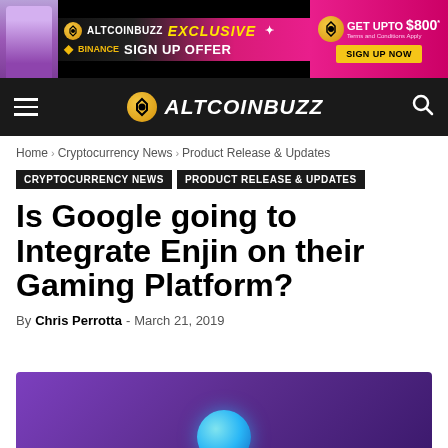[Figure (infographic): AltcoinBuzz Exclusive Binance Sign Up Offer — Get Upto $800 banner ad with woman, Binance logo, and sign up now button]
ALTCOINBUZZ navigation bar with hamburger menu and search icon
Home › Cryptocurrency News › Product Release & Updates
CRYPTOCURRENCY NEWS   PRODUCT RELEASE & UPDATES
Is Google going to Integrate Enjin on their Gaming Platform?
By Chris Perrotta - March 21, 2019
[Figure (illustration): Purple gradient background with Enjin blue circle logo partially visible at bottom]